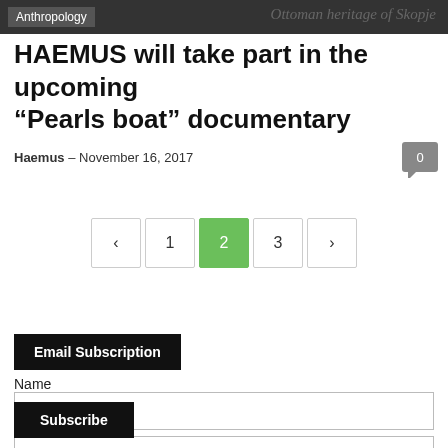Anthropology | Ottoman heritage of Skopje
HAEMUS will take part in the upcoming “Pearls boat” documentary
Haemus – November 16, 2017
< 1 2 3 >
Email Subscription
Name
Email*
Subscribe